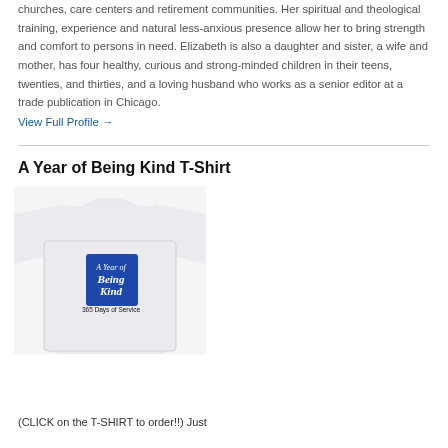churches, care centers and retirement communities. Her spiritual and theological training, experience and natural less-anxious presence allow her to bring strength and comfort to persons in need. Elizabeth is also a daughter and sister, a wife and mother, has four healthy, curious and strong-minded children in their teens, twenties, and thirties, and a loving husband who works as a senior editor at a trade publication in Chicago.
View Full Profile →
A Year of Being Kind T-Shirt
[Figure (photo): A white t-shirt with a blue square logo reading 'A Year of Being Kind' and '365 Days of Service' printed on the chest.]
(CLICK on the T-SHIRT to order!!) Just